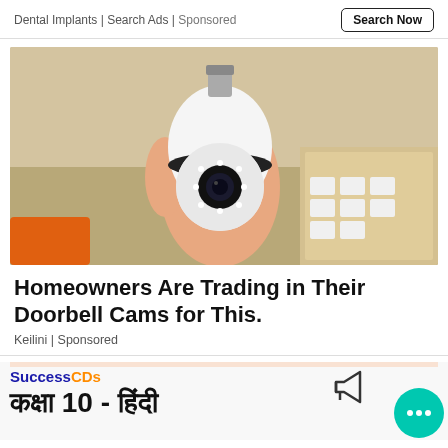Dental Implants | Search Ads | Sponsored
[Figure (photo): A hand holding a white bulb-shaped security camera with a black lens and LED ring, shown against a background of a shelf with boxes]
Homeowners Are Trading in Their Doorbell Cams for This.
Keilini | Sponsored
[Figure (screenshot): SuccessCDs advertisement banner showing logo and Hindi text 'कक्षा 10 - हिंदी' with a megaphone icon and a teal chat bubble with three dots]